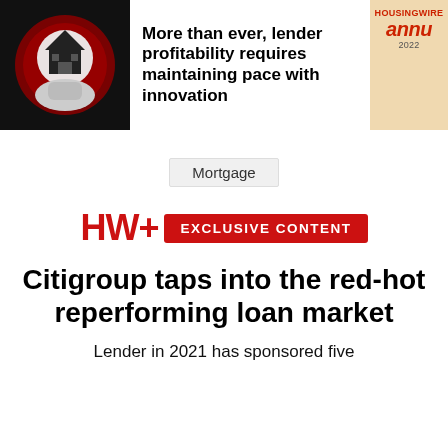[Figure (illustration): Black and white photo of a hand holding a small house model in front of a circular background with red glow]
More than ever, lender profitability requires maintaining pace with innovation
[Figure (logo): HousingWire Annual 2022 magazine cover thumbnail in orange/tan tones]
Mortgage
HW+ EXCLUSIVE CONTENT
Citigroup taps into the red-hot reperforming loan market
Lender in 2021 has sponsored five